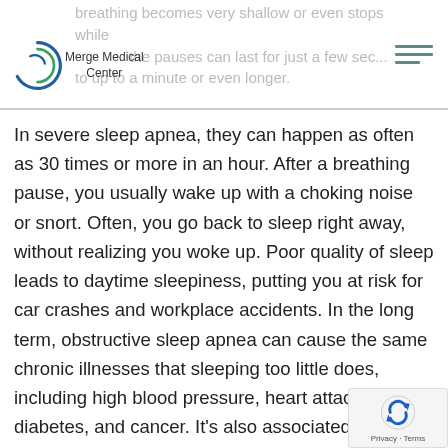breathing becomes very shallow or even stops while the pauses can last for just a few seconds to up to a minute or even longer.
[Figure (logo): Merge Medical Center logo — circular graphic with crescent shapes in blue and green, with text 'Merge Medical Center']
In severe sleep apnea, they can happen as often as 30 times or more in an hour. After a breathing pause, you usually wake up with a choking noise or snort. Often, you go back to sleep right away, without realizing you woke up. Poor quality of sleep leads to daytime sleepiness, putting you at risk for car crashes and workplace accidents. In the long term, obstructive sleep apnea can cause the same chronic illnesses that sleeping too little does, including high blood pressure, heart attacks, diabetes, and cancer. It's also associated with cognitive and behavioral disorders. Sleep apnea is a serious medical problem that can be treated with breathing devices such as positive pressure masks, but lifestyle changes, particularly